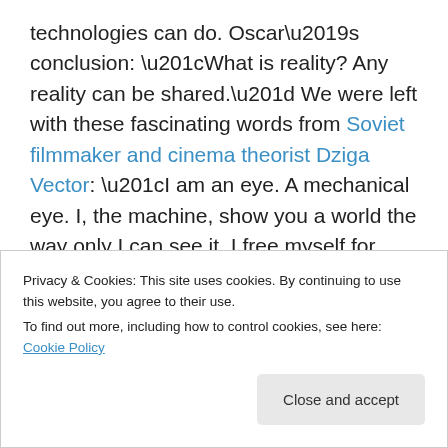technologies can do. Oscar’s conclusion: “What is reality? Any reality can be shared.” We were left with these fascinating words from Soviet filmmaker and cinema theorist Dziga Vector: “I am an eye. A mechanical eye. I, the machine, show you a world the way only I can see it. I free myself for today and forever from human immobility… My way leads towards the creation of a fresh perception of the world. Thus, I explain in a new way the world unknown to you.”
[Figure (illustration): A horizontal gradient color bar going from dark blue on the left through purple/mauve to a pinkish-beige on the right.]
Privacy & Cookies: This site uses cookies. By continuing to use this website, you agree to their use.
To find out more, including how to control cookies, see here: Cookie Policy